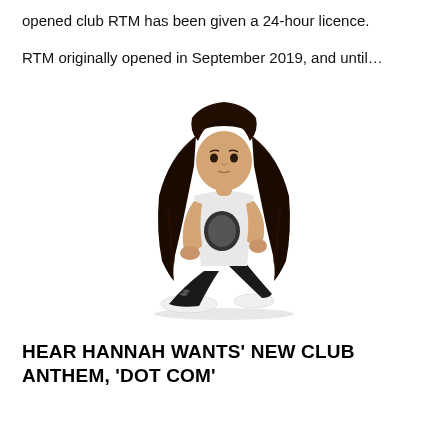opened club RTM has been given a 24-hour licence.
RTM originally opened in September 2019, and until…
[Figure (photo): A woman with long dark wavy hair sitting in a crouched pose, wearing a white top, black ripped jeans, and white trainers, photographed against a white background.]
HEAR HANNAH WANTS' NEW CLUB ANTHEM, 'DOT COM'